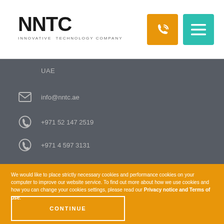NNTC INNOVATIVE TECHNOLOGY COMPANY
[Figure (logo): NNTC logo with orange phone icon and teal hamburger menu icon]
UAE
info@nntc.ae
+971 52 147 2519
+971 4 597 3131
We would like to place strictly necessary cookies and performance cookies on your computer to improve our website service. To find out more about how we use cookies and how you can change your cookies settings, please read our Privacy notice and Terms of use.
CONTINUE